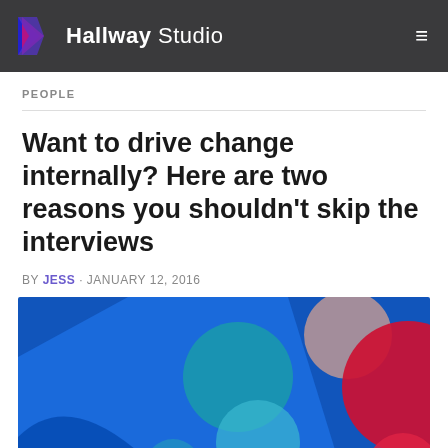Hallway Studio
PEOPLE
Want to drive change internally? Here are two reasons you shouldn't skip the interviews
BY JESS · JANUARY 12, 2016
[Figure (illustration): Abstract colorful illustration with overlapping circles and geometric shapes in blue, teal, red/pink, and peach/nude tones on a dark blue background]